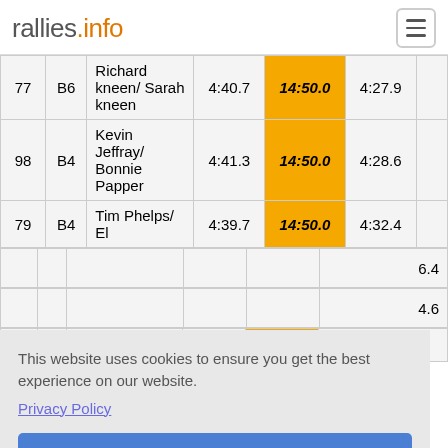rallies.info
| # | Class | Name | Time1 | Time2 | Time3 |
| --- | --- | --- | --- | --- | --- |
| 77 | B6 | Richard kneen/ Sarah kneen | 4:40.7 | 14:50.0 | 4:27.9 |
| 98 | B4 | Kevin Jeffray/ Bonnie Papper | 4:41.3 | 14:50.0 | 4:28.6 |
| 79 | B4 | Tim Phelps/ El... | 4:39.7 | 14:50.0 | 4:32.4 |
This website uses cookies to ensure you get the best experience on our website.
Privacy Policy
Okay